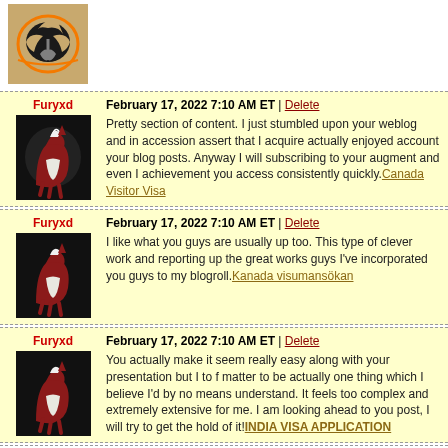[Figure (logo): Anaheim Ducks NHL team logo]
Furyxd
February 17, 2022 7:10 AM ET | Delete
Pretty section of content. I just stumbled upon your weblog and in accession assert that I acquire actually enjoyed account your blog posts. Anyway I will subscribing to your augment and even I achievement you access consistently quickly. Canada Visitor Visa
Furyxd
February 17, 2022 7:10 AM ET | Delete
I like what you guys are usually up too. This type of clever work and reporting up the great works guys I've incorporated you guys to my blogroll. Kanada visumansökan
Furyxd
February 17, 2022 7:10 AM ET | Delete
You actually make it seem really easy along with your presentation but I to find matter to be actually one thing which I believe I'd by no means understand. It feels too complex and extremely extensive for me. I am looking ahead to your post, I will try to get the hold of it! INDIA VISA APPLICATION
Furyxd
February 17, 2022 7:10 AM ET | Delete